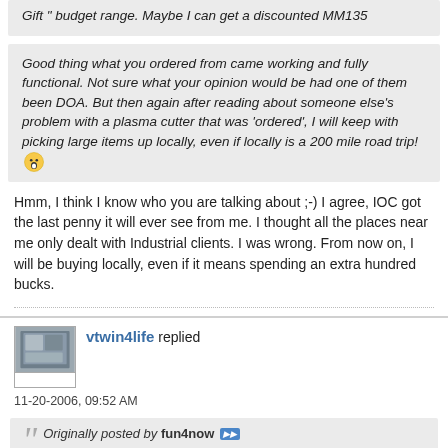Gift " budget range. Maybe I can get a discounted MM135
Good thing what you ordered from came working and fully functional. Not sure what your opinion would be had one of them been DOA. But then again after reading about someone else's problem with a plasma cutter that was 'ordered', I will keep with picking large items up locally, even if locally is a 200 mile road trip! 😮
Hmm, I think I know who you are talking about ;-) I agree, IOC got the last penny it will ever see from me. I thought all the places near me only dealt with Industrial clients. I was wrong. From now on, I will be buying locally, even if it means spending an extra hundred bucks.
vtwin4life replied
11-20-2006, 09:52 AM
Originally posted by fun4now ▶▶ IOC has them listed on there site at $715 free shipping the MM180 is only $742 free shipping for the $27 diference i would go for the MM180 unless you dont have 220V power. the MM140 &180 were just released in my area on the 17th of this month so it may be a wile befor lots of feedback is available...